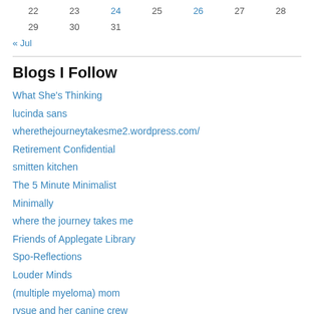| 22 | 23 | 24 | 25 | 26 | 27 | 28 |
| 29 | 30 | 31 |  |  |  |  |
« Jul
Blogs I Follow
What She's Thinking
lucinda sans
wherethejourneytakesme2.wordpress.com/
Retirement Confidential
smitten kitchen
The 5 Minute Minimalist
Minimally
where the journey takes me
Friends of Applegate Library
Spo-Reflections
Louder Minds
(multiple myeloma) mom
rvsue and her canine crew